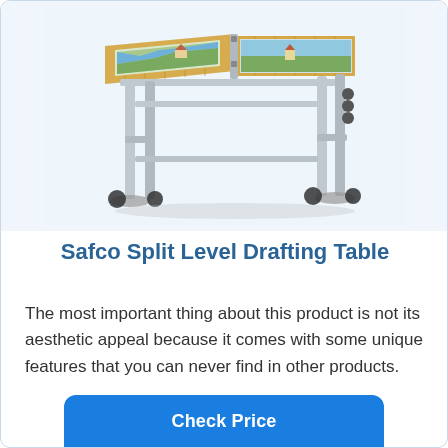[Figure (photo): Product photo of a Safco Split Level Drafting Table with adjustable silver metal legs, a two-level wooden tan worksurface with puzzle/artwork on it, and adjustable height mechanism on a white/light blue background.]
Safco Split Level Drafting Table
The most important thing about this product is not its aesthetic appeal because it comes with some unique features that you can never find in other products.
Check Price